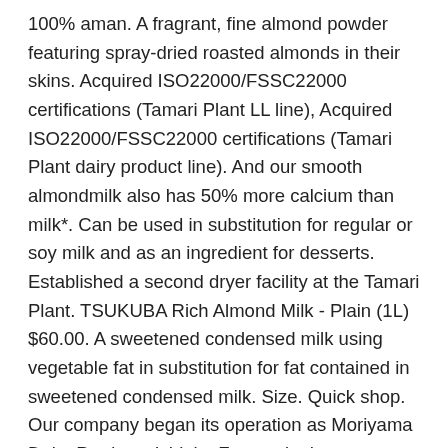100% aman. A fragrant, fine almond powder featuring spray-dried roasted almonds in their skins. Acquired ISO22000/FSSC22000 certifications (Tamari Plant LL line), Acquired ISO22000/FSSC22000 certifications (Tamari Plant dairy product line). And our smooth almondmilk also has 50% more calcium than milk*. Can be used in substitution for regular or soy milk and as an ingredient for desserts. Established a second dryer facility at the Tamari Plant. TSUKUBA Rich Almond Milk - Plain (1L) $60.00. A sweetened condensed milk using vegetable fat in substitution for fat contained in sweetened condensed milk. Size. Quick shop. Our company began its operation as Moriyama Dairy Products Ishioka Factory in the December of 1941, and became independent as Tsukuba Dairy Products Co., Ltd in June 1951. A caramel-flavored product with a hint of fragrant roasted caramel and bitterness. Belanja